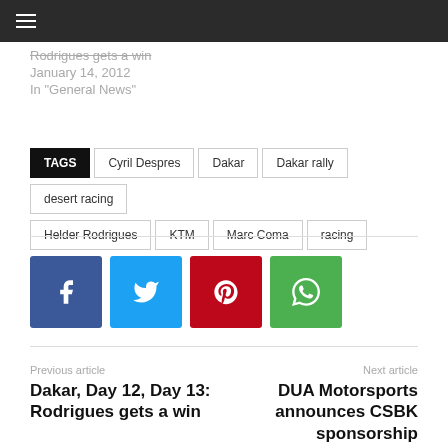Rodrigues gets a win
January 14, 2012
In "General News"
TAGS  Cyril Despres  Dakar  Dakar rally  desert racing  Helder Rodrigues  KTM  Marc Coma  racing
[Figure (infographic): Social share buttons: Facebook (blue), Twitter (light blue), Pinterest (red), WhatsApp (green)]
Previous article
Dakar, Day 12, Day 13: Rodrigues gets a win
Next article
DUA Motorsports announces CSBK sponsorship